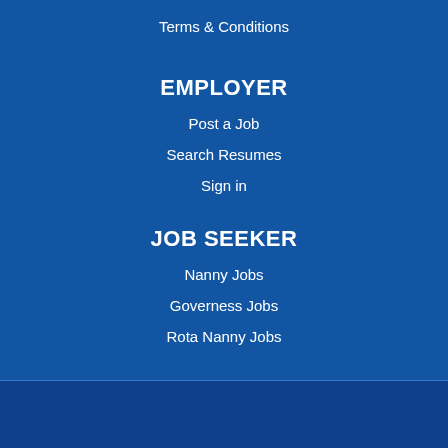Terms & Conditions
EMPLOYER
Post a Job
Search Resumes
Sign in
JOB SEEKER
Nanny Jobs
Governess Jobs
Rota Nanny Jobs